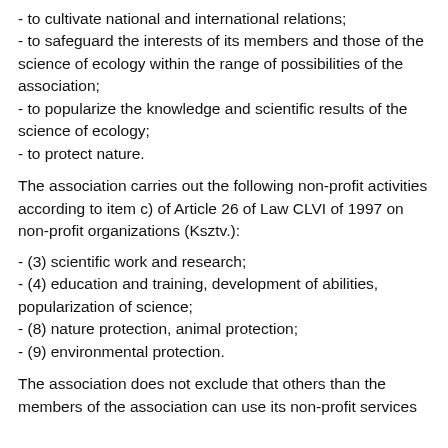- to cultivate national and international relations;
- to safeguard the interests of its members and those of the science of ecology within the range of possibilities of the association;
- to popularize the knowledge and scientific results of the science of ecology;
- to protect nature.
The association carries out the following non-profit activities according to item c) of Article 26 of Law CLVI of 1997 on non-profit organizations (Ksztv.):
- (3) scientific work and research;
- (4) education and training, development of abilities, popularization of science;
- (8) nature protection, animal protection;
- (9) environmental protection.
The association does not exclude that others than the members of the association can use its non-profit services